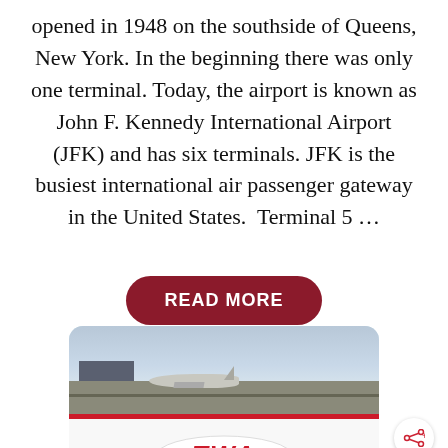opened in 1948 on the southside of Queens, New York. In the beginning there was only one terminal. Today, the airport is known as John F. Kennedy International Airport (JFK) and has six terminals. JFK is the busiest international air passenger gateway in the United States.  Terminal 5 …
[Figure (other): A dark red pill-shaped button reading READ MORE in white bold text]
[Figure (photo): Photo of a TWA airplane on an airport tarmac with a cloudy sky, showing the distinctive TWA logo in red on the aircraft fuselage]